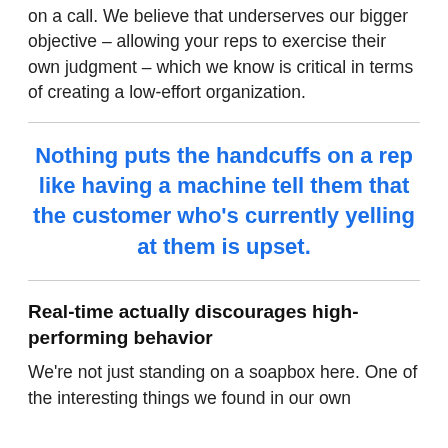on a call. We believe that underserves our bigger objective – allowing your reps to exercise their own judgment – which we know is critical in terms of creating a low-effort organization.
Nothing puts the handcuffs on a rep like having a machine tell them that the customer who's currently yelling at them is upset.
Real-time actually discourages high-performing behavior
We're not just standing on a soapbox here. One of the interesting things we found in our own